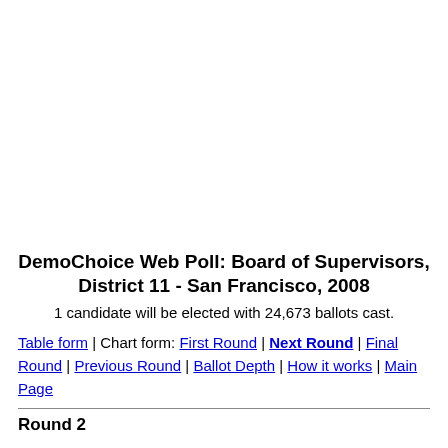DemoChoice Web Poll: Board of Supervisors, District 11 - San Francisco, 2008
1 candidate will be elected with 24,673 ballots cast.
Table form | Chart form: First Round | Next Round | Final Round | Previous Round | Ballot Depth | How it works | Main Page
Round 2